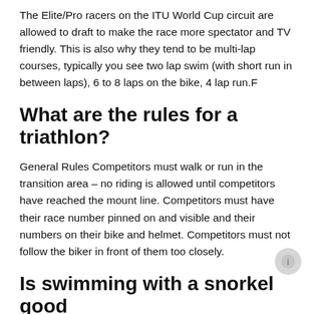The Elite/Pro racers on the ITU World Cup circuit are allowed to draft to make the race more spectator and TV friendly. This is also why they tend to be multi-lap courses, typically you see two lap swim (with short run in between laps), 6 to 8 laps on the bike, 4 lap run.F
What are the rules for a triathlon?
General Rules Competitors must walk or run in the transition area – no riding is allowed until competitors have reached the mount line. Competitors must have their race number pinned on and visible and their numbers on their bike and helmet. Competitors must not follow the biker in front of them too closely.
Is swimming with a snorkel good exercise?